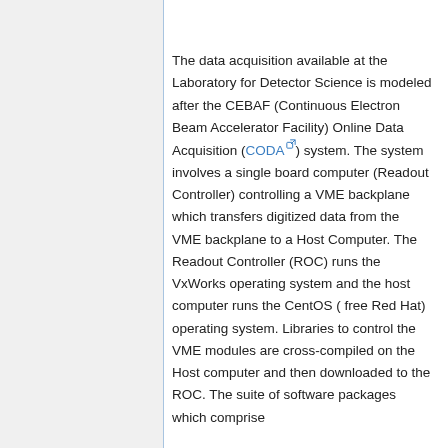The data acquisition available at the Laboratory for Detector Science is modeled after the CEBAF (Continuous Electron Beam Accelerator Facility) Online Data Acquisition (CODA) system. The system involves a single board computer (Readout Controller) controlling a VME backplane which transfers digitized data from the VME backplane to a Host Computer. The Readout Controller (ROC) runs the VxWorks operating system and the host computer runs the CentOS ( free Red Hat) operating system. Libraries to control the VME modules are cross-compiled on the Host computer and then downloaded to the ROC. The suite of software packages which comprise